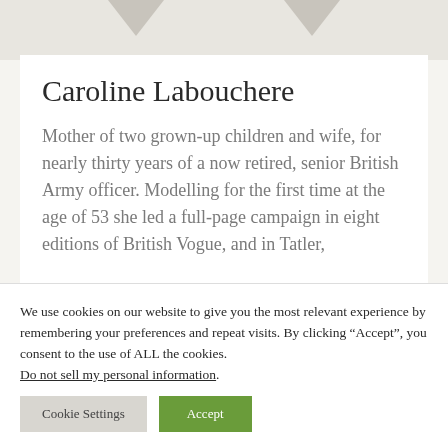Caroline Labouchere
Mother of two grown-up children and wife, for nearly thirty years of a now retired, senior British Army officer. Modelling for the first time at the age of 53 she led a full-page campaign in eight editions of British Vogue, and in Tatler,
We use cookies on our website to give you the most relevant experience by remembering your preferences and repeat visits. By clicking “Accept”, you consent to the use of ALL the cookies. Do not sell my personal information.